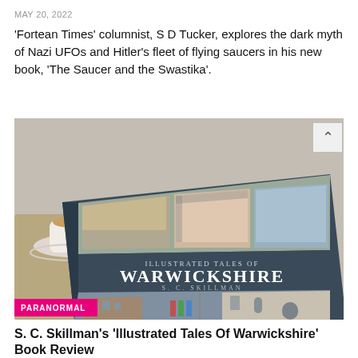MAY 20, 2022
'Fortean Times' columnist, S D Tucker, explores the dark myth of Nazi UFOs and Hitler's fleet of flying saucers in his new book, 'The Saucer and the Swastika'.
[Figure (photo): A book titled 'Illustrated Tales of Warwickshire' by S. C. Skillman resting on a surface next to a cup of tea, with a pink PARANORMAL badge overlay at the bottom left.]
S. C. Skillman's 'Illustrated Tales Of Warwickshire' Book Review